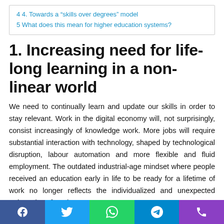4 4. Towards a “skills over degrees” model
5 What does this mean for higher education systems?
1. Increasing need for life-long learning in a non-linear world
We need to continually learn and update our skills in order to stay relevant. Work in the digital economy will, not surprisingly, consist increasingly of knowledge work. More jobs will require substantial interaction with technology, shaped by technological disruption, labour automation and more flexible and fluid employment. The outdated industrial-age mindset where people received an education early in life to be ready for a lifetime of work no longer reflects the individualized and unexpected trajectories of modern careers.
[Figure (other): Social share bar with Facebook, Twitter, WhatsApp, Telegram, and phone icons]